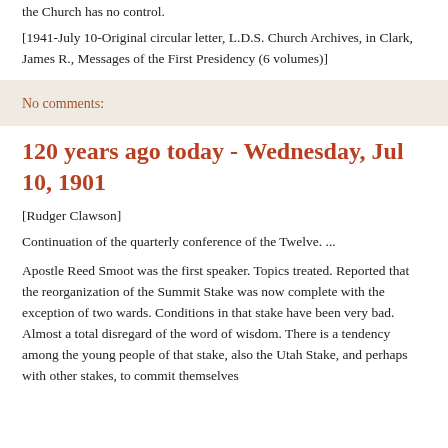the Church has no control.
[1941-July 10-Original circular letter, L.D.S. Church Archives, in Clark, James R., Messages of the First Presidency (6 volumes)]
No comments:
120 years ago today - Wednesday, Jul 10, 1901
[Rudger Clawson]
Continuation of the quarterly conference of the Twelve. ...
Apostle Reed Smoot was the first speaker. Topics treated. Reported that the reorganization of the Summit Stake was now complete with the exception of two wards. Conditions in that stake have been very bad. Almost a total disregard of the word of wisdom. There is a tendency among the young people of that stake, also the Utah Stake, and perhaps with other stakes, to commit themselves